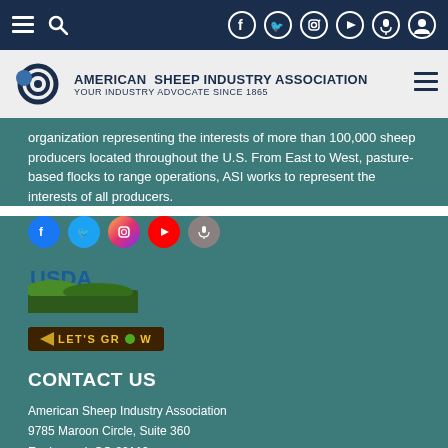Navigation bar with menu, search, and social icons (Facebook, Twitter, Instagram, YouTube, microphone, user)
[Figure (logo): American Sheep Industry Association logo with spiral sheep icon. Text: AMERICAN SHEEP INDUSTRY ASSOCIATION / YOUR INDUSTRY ADVOCATE SINCE 1865]
organization representing the interests of more than 100,000 sheep producers located throughout the U.S. From East to West, pasture-based flocks to range operations, ASI works to represent the interests of all producers.
[Figure (infographic): Social media icons row: Facebook (blue), Twitter (blue), Instagram (gradient), YouTube (red), Microphone (grey)]
[Figure (logo): USDA logo with green landscape graphic]
[Figure (logo): LET'S GROW badge with dark brown background and yellow text]
CONTACT US
American Sheep Industry Association
9785 Maroon Circle, Suite 360
Englewood, CO 80112